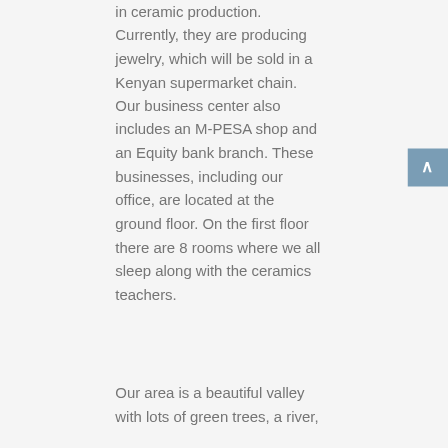in ceramic production. Currently, they are producing jewelry, which will be sold in a Kenyan supermarket chain. Our business center also includes an M-PESA shop and an Equity bank branch. These businesses, including our office, are located at the ground floor. On the first floor there are 8 rooms where we all sleep along with the ceramics teachers.
Our area is a beautiful valley with lots of green trees, a river,